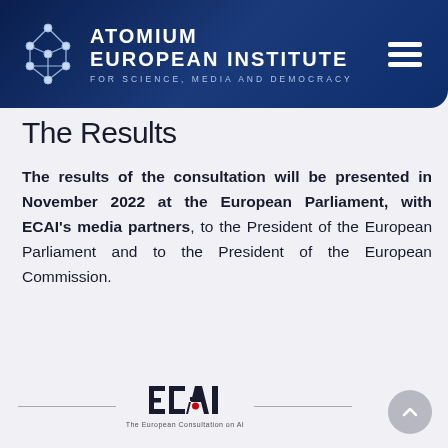ATOMIUM EUROPEAN INSTITUTE FOR SCIENCE, MEDIA AND DEMOCRACY
The Results
The results of the consultation will be presented in November 2022 at the European Parliament, with ECAI’s media partners, to the President of the European Parliament and to the President of the European Commission.
[Figure (logo): ECAI logo — The European Consultation on AI. Bold stylized letters E C A I with a red dot on the A, above a horizontal dividing line, with tagline 'The European Consultation on AI'.]